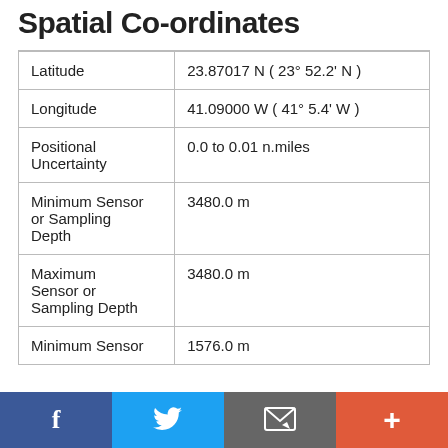Spatial Co-ordinates
|  |  |
| --- | --- |
| Latitude | 23.87017 N ( 23° 52.2' N ) |
| Longitude | 41.09000 W ( 41° 5.4' W ) |
| Positional Uncertainty | 0.0 to 0.01 n.miles |
| Minimum Sensor or Sampling Depth | 3480.0 m |
| Maximum Sensor or Sampling Depth | 3480.0 m |
| Minimum Sensor | 1576.0 m |
f  [Twitter]  [Email]  +